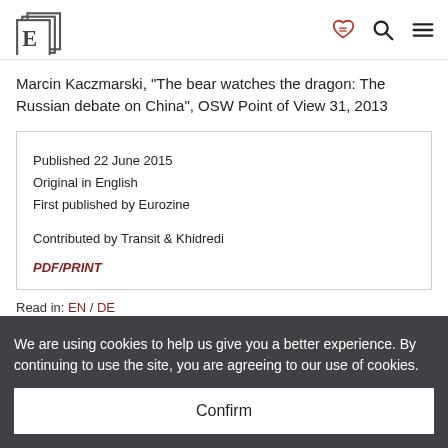Eurozine logo header with icons
Marcin Kaczmarski, "The bear watches the dragon: The Russian debate on China", OSW Point of View 31, 2013
Published 22 June 2015
Original in English
First published by Eurozine
Contributed by Transit & Khidredi
PDF/PRINT
Read in: EN / DE
We are using cookies to help us give you a better experience. By continuing to use the site, you are agreeing to our use of cookies.
Confirm